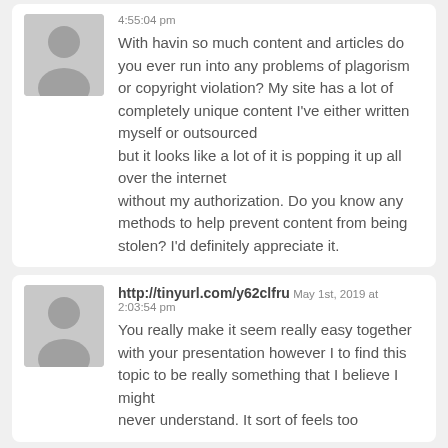4:55:04 pm
With havin so much content and articles do you ever run into any problems of plagorism or copyright violation? My site has a lot of completely unique content I've either written myself or outsourced but it looks like a lot of it is popping it up all over the internet without my authorization. Do you know any methods to help prevent content from being stolen? I'd definitely appreciate it.
http://tinyurl.com/y62clfru May 1st, 2019 at 2:03:54 pm
You really make it seem really easy together with your presentation however I to find this topic to be really something that I believe I might never understand. It sort of feels too